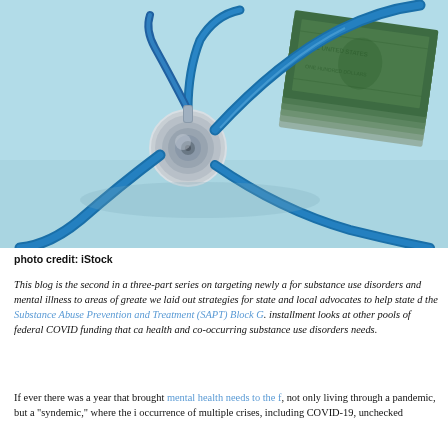[Figure (photo): A stethoscope with a blue tube resting next to a stack of US dollar bills on a light blue background — a medical/healthcare cost concept image.]
photo credit: iStock
This blog is the second in a three-part series on targeting newly available federal funding for substance use disorders and mental illness to areas of greatest need. In the first blog, we laid out strategies for state and local advocates to help state direct more dollars from the Substance Abuse Prevention and Treatment (SAPT) Block Grant. This second installment looks at other pools of federal COVID funding that can address mental health and co-occurring substance use disorders needs.
If ever there was a year that brought mental health needs to the forefront, it was 2020: not only living through a pandemic, but a "syndemic," where the impact occurs from the occurrence of multiple crises, including COVID-19, unchecked...